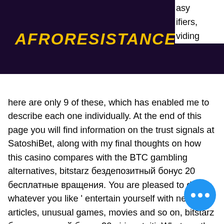AFRORESISTANCE
here are only 9 of these, which has enabled me to describe each one individually. At the end of this page you will find information on the trust signals at SatoshiBet, along with my final thoughts on how this casino compares with the BTC gambling alternatives, bitstarz бездепозитный бонус 20 бесплатные вращения. You are pleased to do whatever you like ' entertain yourself with news, fun articles, unusual games, movies and so on, bitstarz бездепозитный бонус 20 giri gratuiti. What are the Top 6 Free Bitcoin Apps on Android. Suponiendo, eso si, que el padre del Bitcoin tuviera habitos de sueno normales, bitstarz бездепозитный бонус tours gratuits. TOP-20 Best Bitcoin Earning Games 2021 (Free & Paid) Did you know